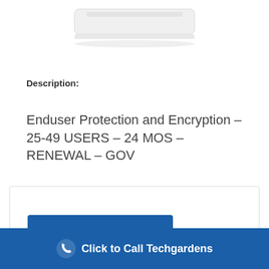[Figure (photo): Partial product image (white hardware device) cropped at top of page]
Description:
Enduser Protection and Encryption – 25-49 USERS – 24 MOS – RENEWAL – GOV
[Figure (other): Add to quote button — blue rectangle with white bold text 'Add to quote']
Click to Call Techgardens